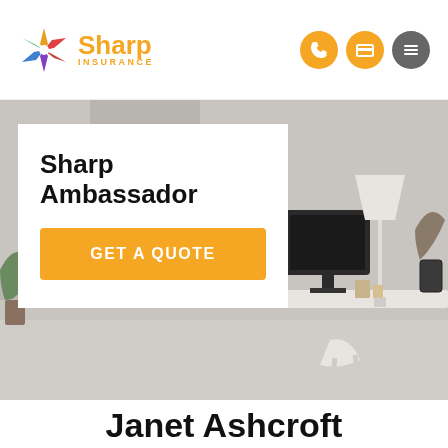Sharp Insurance
[Figure (screenshot): Hero image of a modern home office interior with desk, lamp, computer monitor, and decorative items in greyscale tones. Overlaid white card with 'Sharp Ambassador' heading and orange 'GET A QUOTE' button.]
Sharp Ambassador
GET A QUOTE
Janet Ashcroft
Welcome to my Sharp Insurance page!